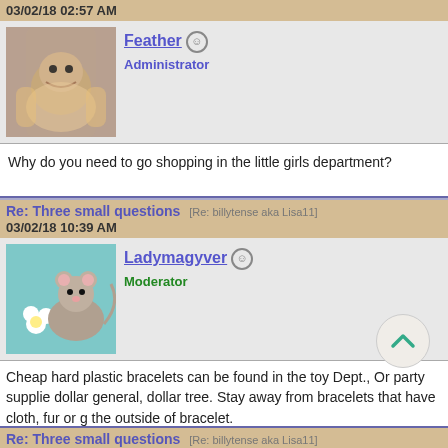03/02/18 02:57 AM
Feather [offline] Administrator
Why do you need to go shopping in the little girls department?
Re: Three small questions [Re: billytense aka Lisa11] 03/02/18 10:39 AM
Ladymagyver [offline] Moderator
Cheap hard plastic bracelets can be found in the toy Dept., Or party supplie dollar general, dollar tree. Stay away from bracelets that have cloth, fur or g the outside of bracelet.
Re: Three small questions [Re: billytense aka Lisa11] 03/02/18 06:01 PM